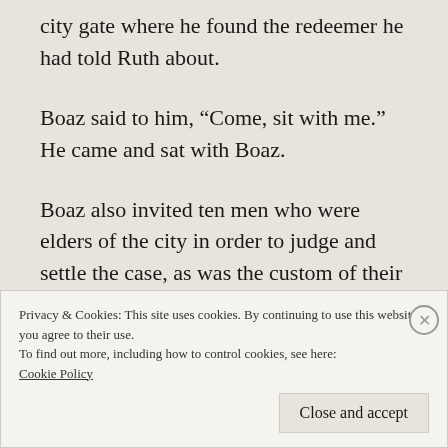city gate where he found the redeemer he had told Ruth about.
Boaz said to him, “Come, sit with me.” He came and sat with Boaz.
Boaz also invited ten men who were elders of the city in order to judge and settle the case, as was the custom of their day.
Privacy & Cookies: This site uses cookies. By continuing to use this website, you agree to their use.
To find out more, including how to control cookies, see here:
Cookie Policy
Close and accept